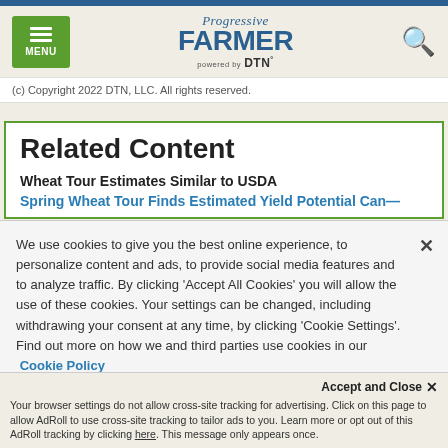Progressive FARMER powered by DTN
(c) Copyright 2022 DTN, LLC. All rights reserved.
Related Content
Wheat Tour Estimates Similar to USDA
We use cookies to give you the best online experience, to personalize content and ads, to provide social media features and to analyze traffic. By clicking 'Accept All Cookies' you will allow the use of these cookies. Your settings can be changed, including withdrawing your consent at any time, by clicking 'Cookie Settings'. Find out more on how we and third parties use cookies in our Cookie Policy
Accept and Close ×
Your browser settings do not allow cross-site tracking for advertising. Click on this page to allow AdRoll to use cross-site tracking to tailor ads to you. Learn more or opt out of this AdRoll tracking by clicking here. This message only appears once.